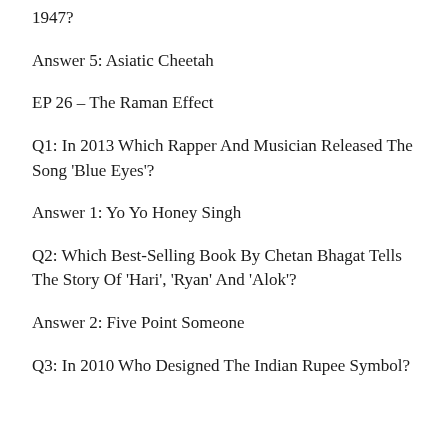1947?
Answer 5: Asiatic Cheetah
EP 26 – The Raman Effect
Q1: In 2013 Which Rapper And Musician Released The Song 'Blue Eyes'?
Answer 1: Yo Yo Honey Singh
Q2: Which Best-Selling Book By Chetan Bhagat Tells The Story Of 'Hari', 'Ryan' And 'Alok'?
Answer 2: Five Point Someone
Q3: In 2010 Who Designed The Indian Rupee Symbol?